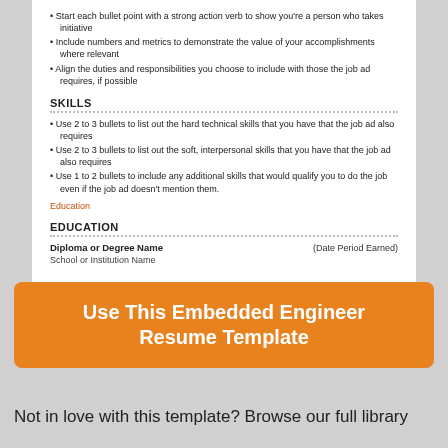Start each bullet point with a strong action verb to show you're a person who takes initiative
Include numbers and metrics to demonstrate the value of your accomplishments where relevant
Align the duties and responsibilities you choose to include with those the job ad requires, if possible
SKILLS
Use 2 to 3 bullets to list out the hard technical skills that you have that the job ad also requires
Use 2 to 3 bullets to list out the soft, interpersonal skills that you have that the job ad also requires
Use 1 to 2 bullets to include any additional skills that would qualify you to do the job even if the job ad doesn't mention them.
Education
EDUCATION
| Diploma or Degree Name | (Date Period Earned) |
| --- | --- |
| School or Institution Name |  |
Use This Embedded Engineer Resume Template
Not in love with this template? Browse our full library